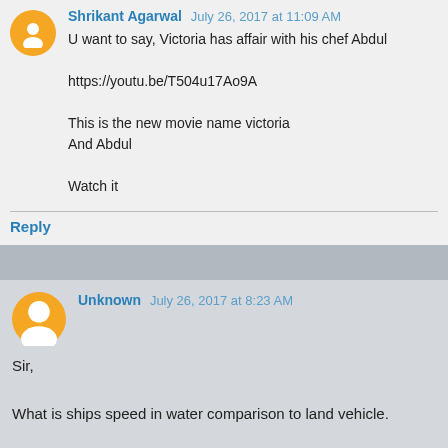Shrikant Agarwal July 26, 2017 at 11:09 AM
U want to say, Victoria has affair with his chef Abdul

https://youtu.be/T504u17Ao9A

This is the new movie name victoria
And Abdul

Watch it
Reply
Unknown July 26, 2017 at 8:23 AM
Sir,

What is ships speed in water comparison to land vehicle.

Is there differance in calculation?